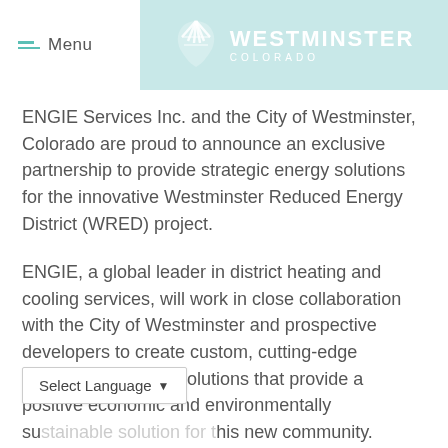Menu | Westminster Colorado
ENGIE Services Inc. and the City of Westminster, Colorado are proud to announce an exclusive partnership to provide strategic energy solutions for the innovative Westminster Reduced Energy District (WRED) project.
ENGIE, a global leader in district heating and cooling services, will work in close collaboration with the City of Westminster and prospective developers to create custom, cutting-edge Distributed Energy Solutions that provide a positive economic and environmentally su[stainable solution for t]his new community. ENGIE will design, build, own, operate and